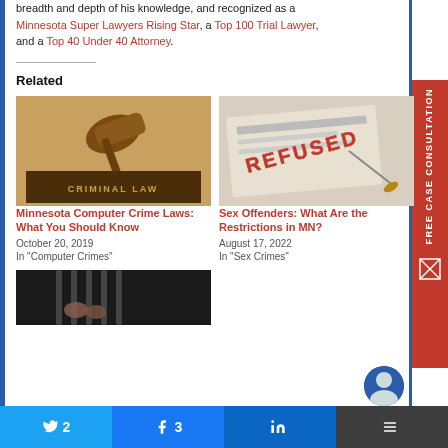He has been featured in numerous media outlets due to the breadth and depth of his knowledge, and recognized as a Minnesota Super Lawyers Rising Star, a Top 100 Trial Lawyer, and a Top 40 Under 40 Attorney.
Related
[Figure (photo): Photo of a gavel on a Criminal Law book]
Minnesota Computer Crime Laws: What You Should Know
October 20, 2019
In "Computer Crimes"
[Figure (photo): Photo of a document stamped REFUSED]
Sex Offenders: What Are the Restrictions in MN?
August 17, 2022
In "Sex Crimes"
[Figure (photo): Photo of hands behind prison bars]